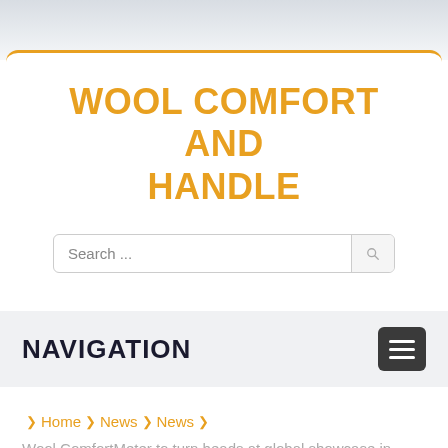WOOL COMFORT AND HANDLE
Search ...
NAVIGATION
❯ Home ❯ News ❯ News ❯
Wool ComfortMeter to turn heads at global showcase in Shanghai